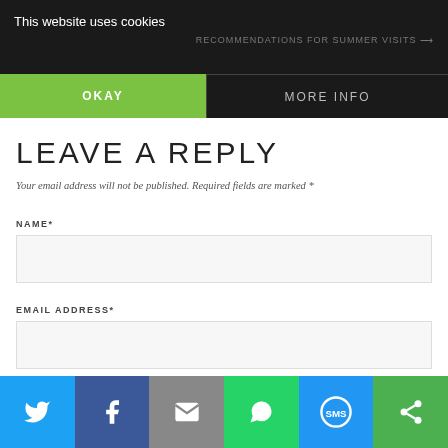This website uses cookies
RECOMMENDATIONS FOR SUMMER VISITS →
OKAY
MORE INFO
LEAVE A REPLY
Your email address will not be published. Required fields are marked *
NAME*
EMAIL ADDRESS*
[Figure (infographic): Social share bar with Twitter, Facebook, Email, WhatsApp, SMS, and Other icons]